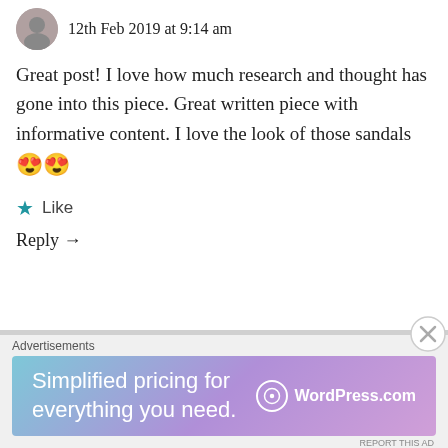12th Feb 2019 at 9:14 am
Great post! I love how much research and thought has gone into this piece. Great written piece with informative content. I love the look of those sandals 😍😍
Like
Reply →
LOVESHETRAVELS
12th Feb 2019 at 9:21 am
Thanks so much! The sandals are super
Advertisements
[Figure (infographic): WordPress.com advertisement banner: 'Simplified pricing for everything you need.' with WordPress.com logo on gradient background (teal to purple).]